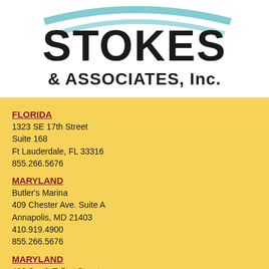[Figure (logo): Stokes & Associates, Inc. company logo with stylized text and teal swoosh graphic]
FLORIDA
1323 SE 17th Street
Suite 168
Ft Lauderdale, FL 33316
855.266.5676
MARYLAND
Butler's Marina
409 Chester Ave. Suite A
Annapolis, MD 21403
410.919.4900
855.266.5676
MARYLAND
400 South Talbot Street
Mail: PO Box 190
Saint Michaels, MD 21663
410.200.9295
855.266.5676
TENNESEE
Lakeshore Marina
5600 Lake Resort Tr
Chattanooga, TN 37415
423.580.4330